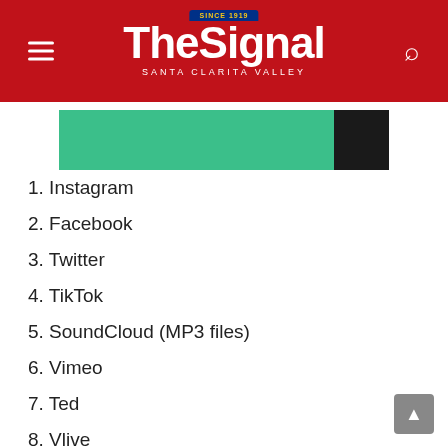The Signal — Santa Clarita Valley
[Figure (photo): Partial image showing a green and black graphic, cropped at the top of the list content area.]
1. Instagram
2. Facebook
3. Twitter
4. TikTok
5. SoundCloud (MP3 files)
6. Vimeo
7. Ted
8. Vlive
9. Dailymotion
10. Twitch
11. Flickr